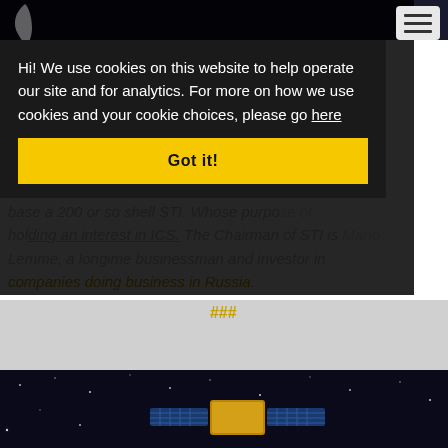[Figure (logo): Leaf-shaped logo icon in top left corner]
[Figure (other): Hamburger menu icon (three horizontal lines) in top right]
Hi! We use cookies on this website to help operate our site and for analytics. For more on how we use cookies and your cookie choices, please go here
Got it!
base a 200 or so shell STI. Whose purpose of holding an interest in ICS. The Chairman of STI is Mario Lemme, a longime businessman and investor in companies doing business in Russia.
###
[Figure (photo): Satellite in outer space against dark starry sky background, bottom portion of page]